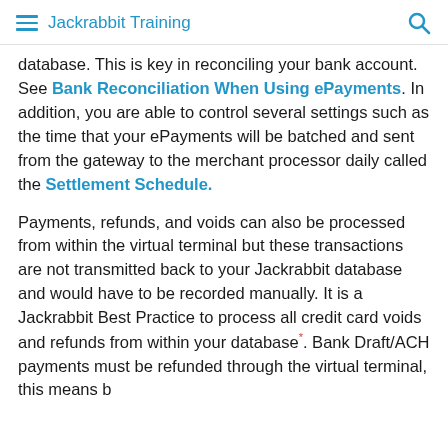Jackrabbit Training
database. This is key in reconciling your bank account. See Bank Reconciliation When Using ePayments. In addition, you are able to control several settings such as the time that your ePayments will be batched and sent from the gateway to the merchant processor daily called the Settlement Schedule.
Payments, refunds, and voids can also be processed from within the virtual terminal but these transactions are not transmitted back to your Jackrabbit database and would have to be recorded manually. It is a Jackrabbit Best Practice to process all credit card voids and refunds from within your database*. Bank Draft/ACH payments must be refunded through the virtual terminal, this means b...